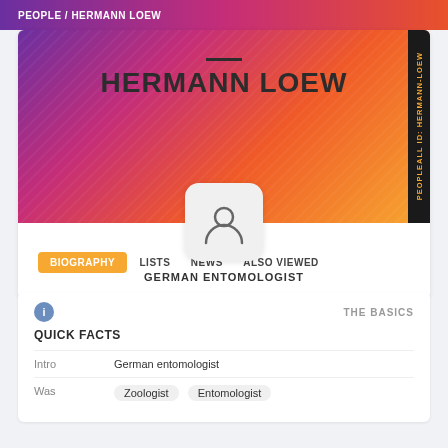PEOPLE / HERMANN LOEW
HERMANN LOEW
GERMAN ENTOMOLOGIST
BIOGRAPHY  LISTS  NEWS  ALSO VIEWED
THE BASICS
QUICK FACTS
| Field | Value |
| --- | --- |
| Intro | German entomologist |
| Was | Zoologist  Entomologist |